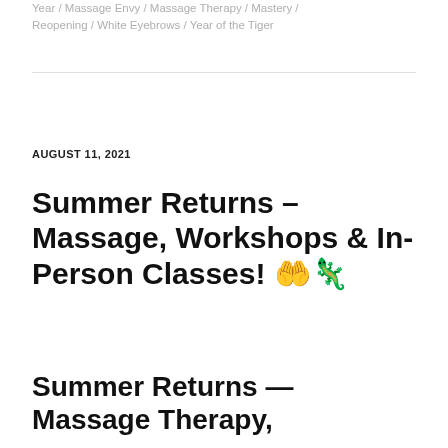Year / Massage Envy / Massage Therapy / Mastery / Reopening / White Eyebrows / Year of the Tiger
AUGUST 11, 2021
Summer Returns – Massage, Workshops & In-Person Classes! 🤲🦎
Summer Returns — Massage Therapy,